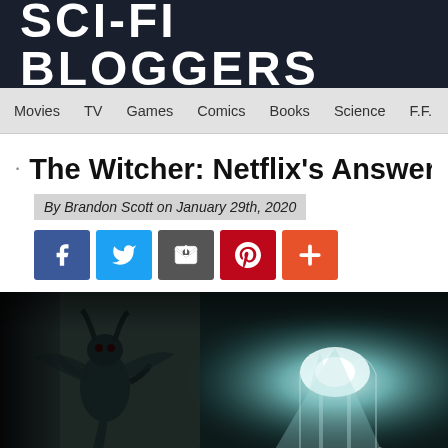SCI-FI BLOGGERS
Movies   TV   Games   Comics   Books   Science   F.F.   WIN!
The Witcher: Netflix's Answer To T
By Brandon Scott on January 29th, 2020
[Figure (screenshot): Social media share buttons: Facebook, Twitter, Email, Pinterest, More]
[Figure (photo): Dark fantasy scene showing a grotesque creature clinging to a wall on the left, and a bright cathedral-like light source on the right with gothic arched windows, crosses visible in a mysterious dark setting]